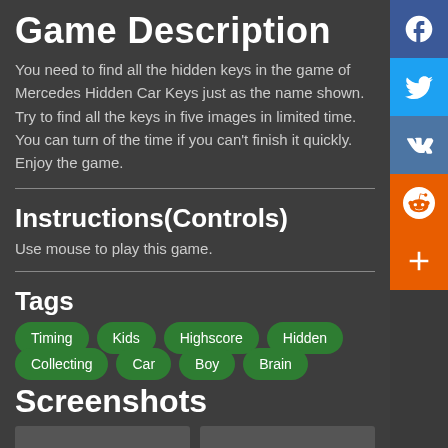Game Description
You need to find all the hidden keys in the game of Mercedes Hidden Car Keys just as the name shown. Try to find all the keys in five images in limited time. You can turn of the time if you can't finish it quickly. Enjoy the game.
Instructions(Controls)
Use mouse to play this game.
Tags
Timing
Kids
Highscore
Hidden
Collecting
Car
Boy
Brain
Screenshots
[Figure (screenshot): Two screenshot thumbnails of the game]